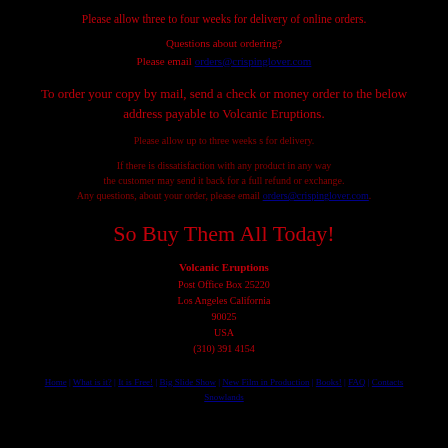Please allow three to four weeks for delivery of online orders.
Questions about ordering?
Please email orders@crispinglover.com
To order your copy by mail, send a check or money order to the below address payable to Volcanic Eruptions.
Please allow up to three weeks s for delivery.
If there is dissatisfaction with any product in any way the customer may send it back for a full refund or exchange. Any questions, about your order, please email orders@crispinglover.com.
So Buy Them All Today!
Volcanic Eruptions
Post Office Box 25220
Los Angeles California
90025
USA
(310) 391 4154
Home | What is it? | It is Free! | Big Slide Show | New Film in Production | Books! | FAQ | Contacts | Snowlands